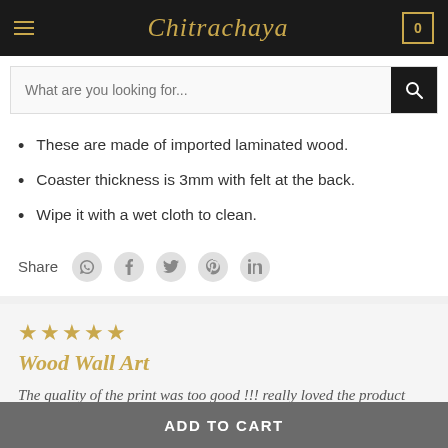Chitrachaya
These are made of imported laminated wood.
Coaster thickness is 3mm with felt at the back.
Wipe it with a wet cloth to clean.
Share
Wood Wall Art — 5 stars review by Abhi Unnam: The quality of the print was too good !!! really loved the product plus kudos to the team for timely delivery....
ADD TO CART